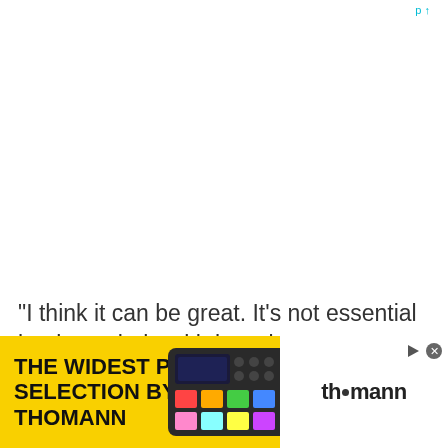"I think it can be great. It's not essential but it can help with knowing your parts really well and being tight (unless you're in a sloppy sounding band!). It's great to prepare as much as possible for going into the studio environment so those home recording setups…
[Figure (other): Advertisement banner for Thomann: yellow background with bold text 'THE WIDEST PRODUCT SELECTION BY THOMANN', image of a music production pad controller device, and Thomann logo on white background on the right]